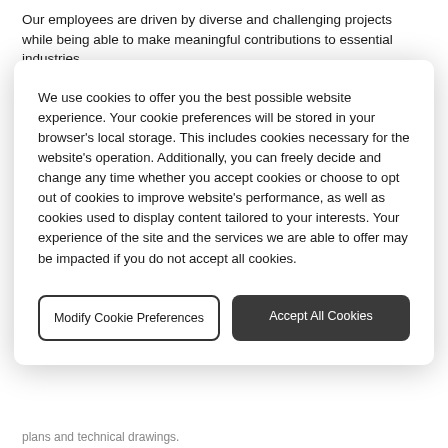Our employees are driven by diverse and challenging projects while being able to make meaningful contributions to essential industries.
LAKE SUPERIOR CONSULTING is currently growing at a fast pace and as part of that growth, we are seeking to fill a
We use cookies to offer you the best possible website experience. Your cookie preferences will be stored in your browser's local storage. This includes cookies necessary for the website's operation. Additionally, you can freely decide and change any time whether you accept cookies or choose to opt out of cookies to improve website's performance, as well as cookies used to display content tailored to your interests. Your experience of the site and the services we are able to offer may be impacted if you do not accept all cookies.
Modify Cookie Preferences
Accept All Cookies
plans and technical drawings.